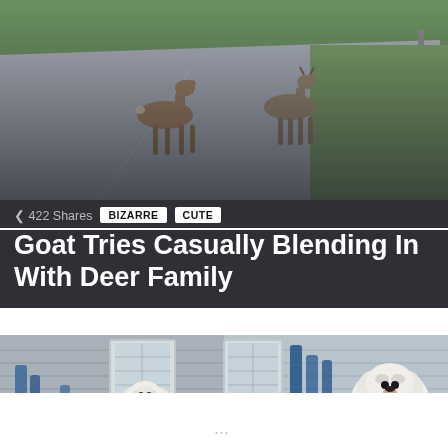[Figure (photo): Security camera footage showing a goat walking alongside deer on a suburban road, with grass and a utility pole in the background]
422 Shares
BIZARRE  CUTE
Goat Tries Casually Blending In With Deer Family
[Figure (photo): Two side-by-side video frames showing a large white fluffy dog (Great Pyrenees) standing near the back door of a house]